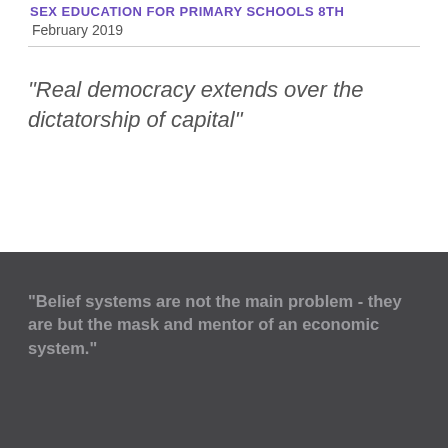SEX EDUCATION FOR PRIMARY SCHOOLS 8th February 2019
"Real democracy extends over the dictatorship of capital"
"Belief systems are not the main problem - they are but the mask and mentor of an economic system."